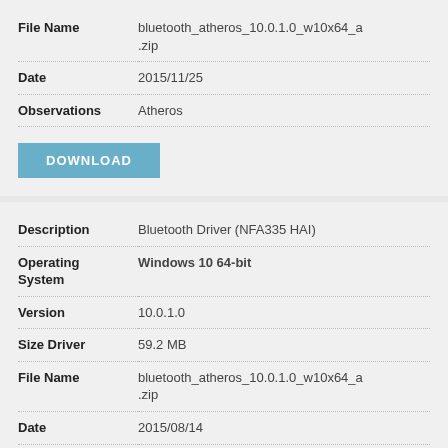| Field | Value |
| --- | --- |
| File Name | bluetooth_atheros_10.0.1.0_w10x64_a.zip |
| Date | 2015/11/25 |
| Observations | Atheros |
DOWNLOAD
| Field | Value |
| --- | --- |
| Description | Bluetooth Driver (NFA335 HAI) |
| Operating System | Windows 10 64-bit |
| Version | 10.0.1.0 |
| Size Driver | 59.2 MB |
| File Name | bluetooth_atheros_10.0.1.0_w10x64_a.zip |
| Date | 2015/08/14 |
| Observations | Atheros |